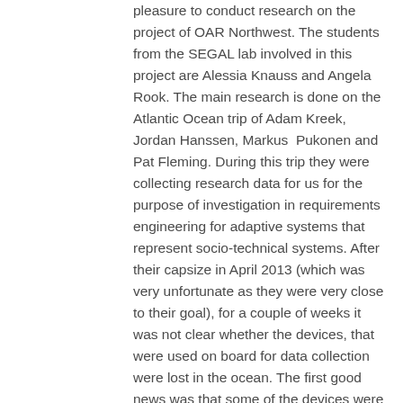pleasure to conduct research on the project of OAR Northwest. The students from the SEGAL lab involved in this project are Alessia Knauss and Angela Rook. The main research is done on the Atlantic Ocean trip of Adam Kreek, Jordan Hanssen, Markus  Pukonen and Pat Fleming. During this trip they were collecting research data for us for the purpose of investigation in requirements engineering for adaptive systems that represent socio-technical systems. After their capsize in April 2013 (which was very unfortunate as they were very close to their goal), for a couple of weeks it was not clear whether the devices, that were used on board for data collection were lost in the ocean. The first good news was that some of the devices were found on the boat that was out on the ocean for almost two weeks. With the devices (e.g. Samsung Rugbys) the impossible was